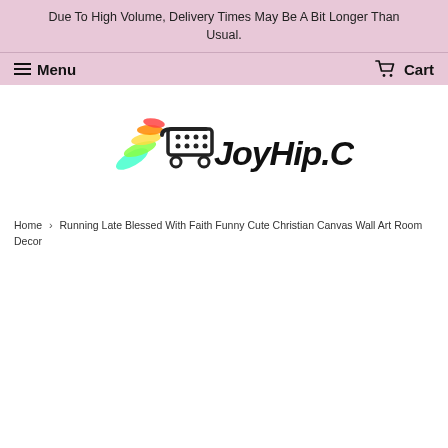Due To High Volume, Delivery Times May Be A Bit Longer Than Usual.
Menu   Cart
[Figure (logo): JoyHip.Com logo with shopping cart icon and colorful wing graphic]
Home › Running Late Blessed With Faith Funny Cute Christian Canvas Wall Art Room Decor